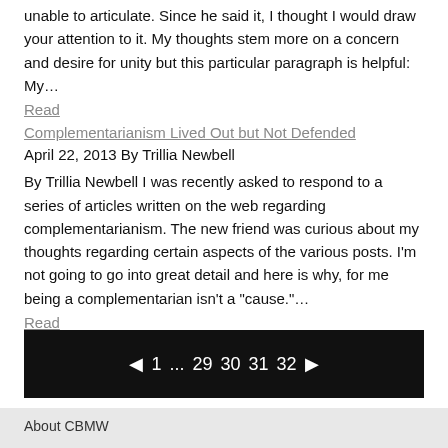unable to articulate. Since he said it, I thought I would draw your attention to it. My thoughts stem more on a concern and desire for unity but this particular paragraph is helpful: My...
Read
Complementarianism Lived Out but Not Defended
April 22, 2013 By Trillia Newbell
By Trillia Newbell I was recently asked to respond to a series of articles written on the web regarding complementarianism. The new friend was curious about my thoughts regarding certain aspects of the various posts. I'm not going to go into great detail and here is why, for me being a complementarian isn't a "cause."...
Read
[Figure (other): Pagination bar with black background showing navigation: left arrow, 1, ..., 29, 30, 31, 32, right arrow]
About CBMW